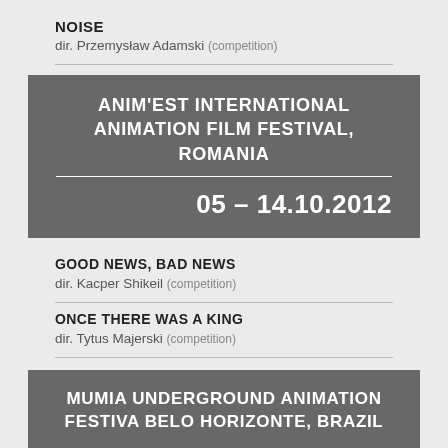NOISE
dir. Przemysław Adamski (competition)
ANIM'EST INTERNATIONAL ANIMATION FILM FESTIVAL, ROMANIA
05 – 14.10.2012
GOOD NEWS, BAD NEWS
dir. Kacper Shikeil (competition)
ONCE THERE WAS A KING
dir. Tytus Majerski (competition)
MUMIA UNDERGROUND ANIMATION FESTIVA BELO HORIZONTE, BRAZIL